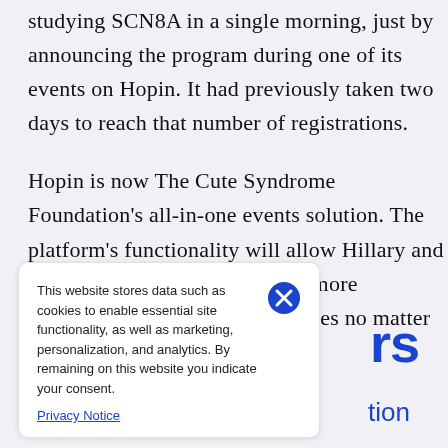studying SCN8A in a single morning, just by announcing the program during one of its events on Hopin. It had previously taken two days to reach that number of registrations.
Hopin is now The Cute Syndrome Foundation's all-in-one events solution. The platform's functionality will allow Hillary and her team to continue providing more comprehensive support to families no matter where they are in the world.
This website stores data such as cookies to enable essential site functionality, as well as marketing, personalization, and analytics. By remaining on this website you indicate your consent.
Privacy Notice